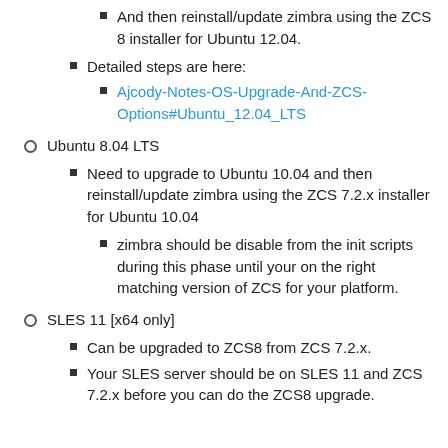And then reinstall/update zimbra using the ZCS 8 installer for Ubuntu 12.04.
Detailed steps are here:
Ajcody-Notes-OS-Upgrade-And-ZCS-Options#Ubuntu_12.04_LTS
Ubuntu 8.04 LTS
Need to upgrade to Ubuntu 10.04 and then reinstall/update zimbra using the ZCS 7.2.x installer for Ubuntu 10.04
zimbra should be disable from the init scripts during this phase until your on the right matching version of ZCS for your platform.
SLES 11 [x64 only]
Can be upgraded to ZCS8 from ZCS 7.2.x.
Your SLES server should be on SLES 11 and ZCS 7.2.x before you can do the ZCS8 upgrade.